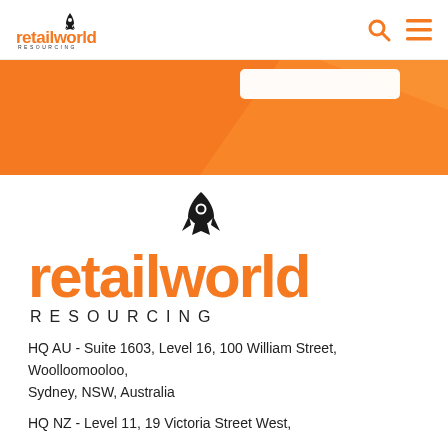[Figure (logo): Retailworld Resourcing logo in the top navigation bar with rocket icon above text]
[Figure (illustration): Orange banner/hero section with a partially visible search bar element]
[Figure (logo): Large Retailworld Resourcing logo centered in the page with rocket icon above, orange text and RESOURCING in dark spaced letters]
HQ AU - Suite 1603, Level 16, 100 William Street, Woolloomooloo, Sydney, NSW, Australia
HQ NZ - Level 11, 19 Victoria Street West,